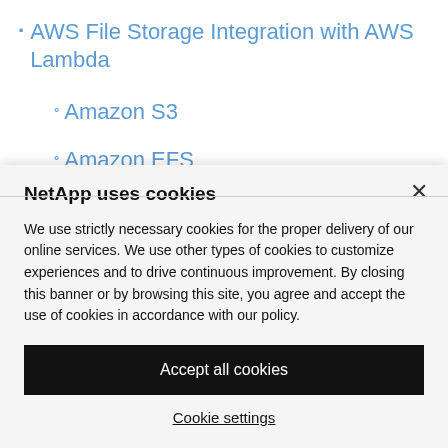AWS File Storage Integration with AWS Lambda
Amazon S3
Amazon EFS
Amazon EFS Options
NetApp uses cookies
We use strictly necessary cookies for the proper delivery of our online services. We use other types of cookies to customize experiences and to drive continuous improvement. By closing this banner or by browsing this site, you agree and accept the use of cookies in accordance with our policy.
Accept all cookies
Cookie settings